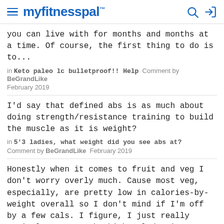myfitnesspal
you can live with for months and months at a time. Of course, the first thing to do is to...
in Keto paleo lc bulletproof!! Help  Comment by BeGrandLike  February 2019
I'd say that defined abs is as much about doing strength/resistance training to build the muscle as it is weight?
in 5'3 ladies, what weight did you see abs at? Comment by BeGrandLike  February 2019
Honestly when it comes to fruit and veg I don't worry overly much. Cause most veg, especially, are pretty low in calories-by-weight overall so I don't mind if I'm off by a few cals. I figure, I just really strictly measure the high cal density foods, 'cause those are the ones where an unmeasured spoonful can really throw